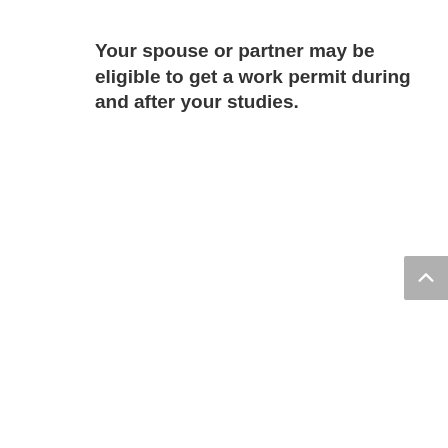Your spouse or partner may be eligible to get a work permit during and after your studies.